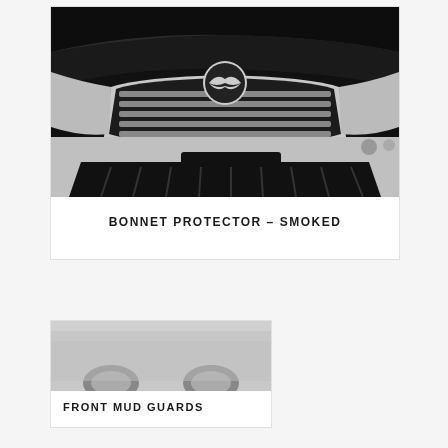[Figure (photo): Close-up front view of Mazda CX-8 showing grille, badge, bonnet protector and front bumper with CX-8 nameplate, black and white/silver tones]
BONNET PROTECTOR - SMOKED
[Figure (photo): Partial view of Mazda CX-8 for front mud guards product listing]
FRONT MUD GUARDS